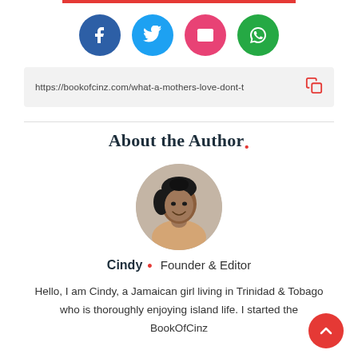[Figure (infographic): Four social media sharing icons in circles: Facebook (dark blue), Twitter (light blue), Email (pink/red), WhatsApp (green)]
https://bookofcinz.com/what-a-mothers-love-dont-t
About the Author.
[Figure (photo): Circular cropped headshot photo of Cindy, a Black woman smiling, with hair pulled back, wearing a light top, background light/beige.]
Cindy • Founder & Editor
Hello, I am Cindy, a Jamaican girl living in Trinidad & Tobago who is thoroughly enjoying island life. I started the BookOfCinz